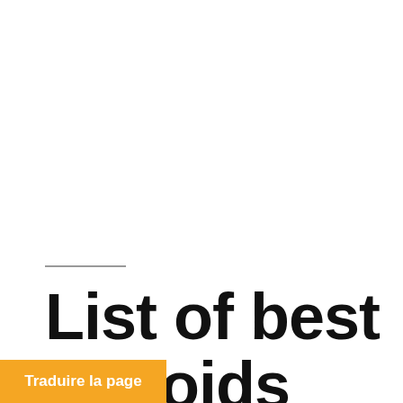List of best steroids
Traduire la page